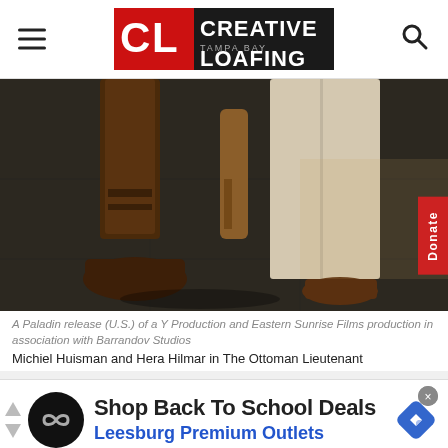Creative Loafing Tampa Bay
[Figure (photo): Close-up photo of two people's feet and lower legs — one wearing tall brown leather riding boots, the other wearing light-colored wide-leg trousers and brown leather shoes, standing on dark tile floor.]
A Paladin release (U.S.) of a Y Production and Eastern Sunrise Films production in association with Barrandov Studios
Michiel Huisman and Hera Hilmar in The Ottoman Lieutenant
[Figure (infographic): Advertisement: Shop Back To School Deals — Leesburg Premium Outlets, with brand logo and navigation icons.]